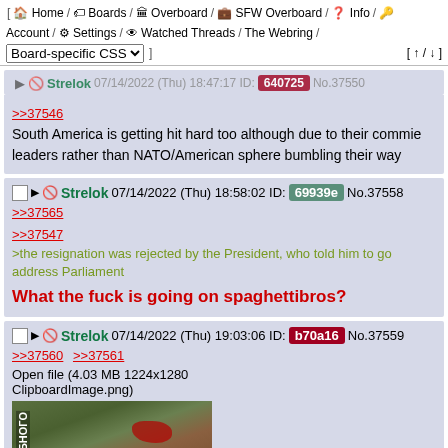[ Home / Boards / Overboard / SFW Overboard / Info / Account / Settings / Watched Threads / The Webring / Board-specific CSS ]  [ ↑ / ↓ ]
Strelok 07/14/2022 (Thu) 18:47:17 ID: 640725 No.37550
>>37546
South America is getting hit hard too although due to their commie leaders rather than NATO/American sphere bumbling their way
Strelok 07/14/2022 (Thu) 18:58:02 ID: 69939e No.37558
>>37565
>>37547
>the resignation was rejected by the President, who told him to go address Parliament
What the fuck is going on spaghettibros?
Strelok 07/14/2022 (Thu) 19:03:06 ID: b70a16 No.37559
>>37560 >>37561
Open file (4.03 MB 1224x1280 ClipboardImage.png)
[Figure (map): Satellite/aerial map image showing terrain with Cyrillic text label on the left side and a red highlighted area, likely showing a military or geographic area of interest.]